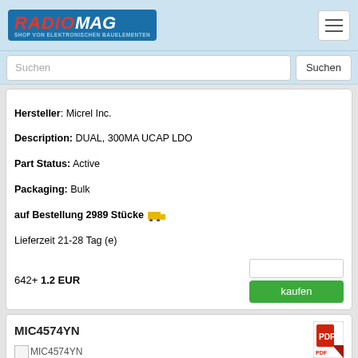[Figure (logo): RadioMag logo — red RADIO italic text and white MAG on blue background, with subtitle SHOP VON ELEKTRONISCHEN BAUELEMENTEN]
Suchen (search input placeholder)
Hersteller: Micrel Inc.
Description: DUAL, 300MA UCAP LDO
Part Status: Active
Packaging: Bulk
auf Bestellung 2989 Stücke
Lieferzeit 21-28 Tag (e)
642+ 1.2 EUR
kaufen
MIC4574YN
Hersteller: Micrel Inc.
Description: 200KHZ SIMPLE 0.5A BUCK REGULATO
Number of Outputs: 1
Mounting Type: Through Hole
Output Type: Adjustable
Part Status: Active
Voltage - Output (Min/Fixed): 1.23V
Voltage - Input (Min): 4V
Voltage - Output (Max): 20V